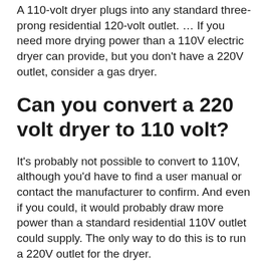A 110-volt dryer plugs into any standard three-prong residential 120-volt outlet. … If you need more drying power than a 110V electric dryer can provide, but you don't have a 220V outlet, consider a gas dryer.
Can you convert a 220 volt dryer to 110 volt?
It's probably not possible to convert to 110V, although you'd have to find a user manual or contact the manufacturer to confirm. And even if you could, it would probably draw more power than a standard residential 110V outlet could supply. The only way to do this is to run a 220V outlet for the dryer.
Can you plug a 220v air